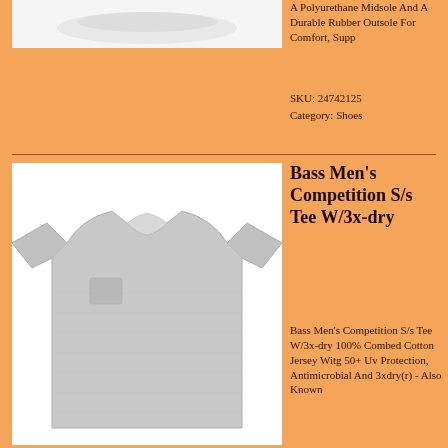[Figure (photo): Product image placeholder for shoes (white background, partial view at top)]
A Polyurethane Midsole And A Durable Rubber Outsole For Comfort, Supp
SKU: 24742125
Category: Shoes
[Figure (photo): Gray t-shirt on white background — Bass Men's Competition S/s Tee W/3x-dry]
Bass Men's Competition S/s Tee W/3x-dry
Bass Men's Competition S/s Tee W/3x-dry 100% Combed Cotton Jersey Witg 50+ Uv Protection, Antimicrobial And 3xdry(r) - Also Known